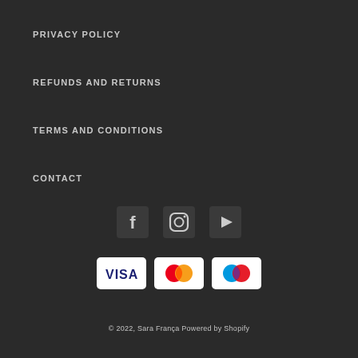PRIVACY POLICY
REFUNDS AND RETURNS
TERMS AND CONDITIONS
CONTACT
[Figure (other): Social media icons: Facebook, Instagram, YouTube]
[Figure (other): Payment method icons: Visa, Mastercard, Maestro]
© 2022, Sara França Powered by Shopify